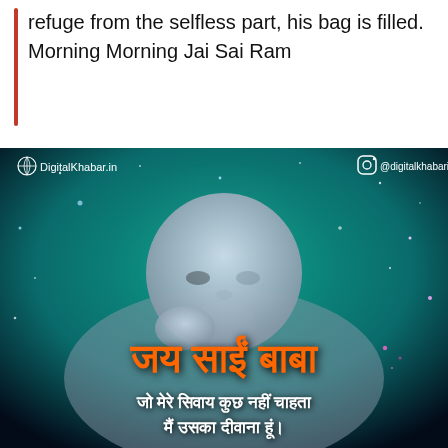refuge from the selfless part, his bag is filled.
Morning Morning Jai Sai Ram
[Figure (photo): A devotional image showing a marble/stone statue of Sai Baba against a starry teal/cosmic background. The image is branded with 'DigitalKhabar.in' on the top left and '@digitalkhabarin' Instagram handle on the top right. Hindi text reads 'जय साईं बाबा' in orange and 'जो मेरे सिवाय कुछ नहीं चाहता मैं उसका दीवाना हूं।' in white below.]